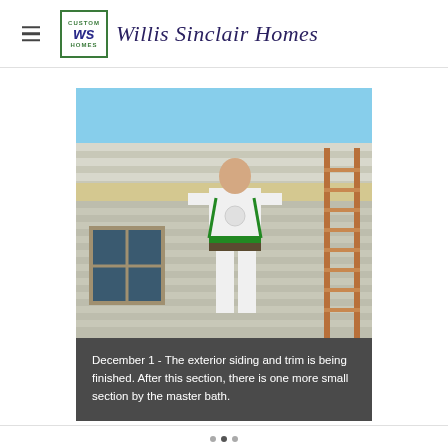Willis Sinclair Homes
[Figure (photo): A construction worker in white clothing and safety harness standing on the exterior of a house, applying siding and trim. A ladder is visible on the right side. Blue sky visible at the top.]
December 1 - The exterior siding and trim is being finished. After this section, there is one more small section by the master bath.